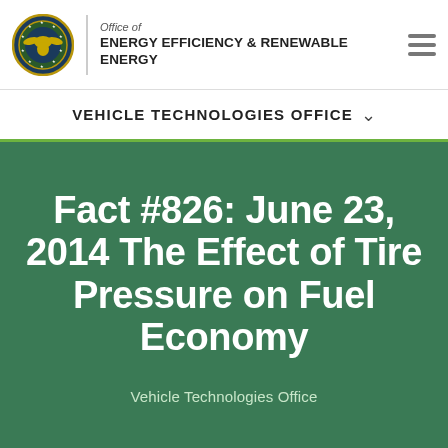Office of ENERGY EFFICIENCY & RENEWABLE ENERGY
VEHICLE TECHNOLOGIES OFFICE
Fact #826: June 23, 2014 The Effect of Tire Pressure on Fuel Economy
Vehicle Technologies Office